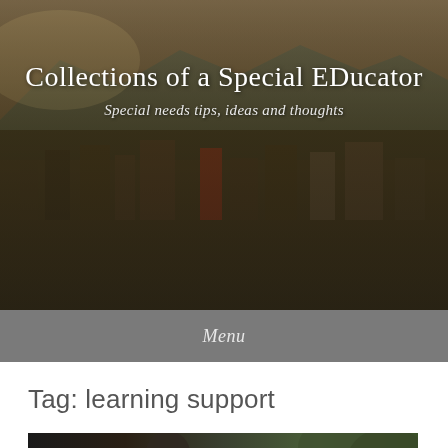[Figure (photo): Aerial cityscape photograph with mountains in background, used as hero banner background]
Collections of a Special EDucator
Special needs tips, ideas and thoughts
Menu
Tag: learning support
[Figure (photo): Partial photo of a person, cropped at bottom of page]